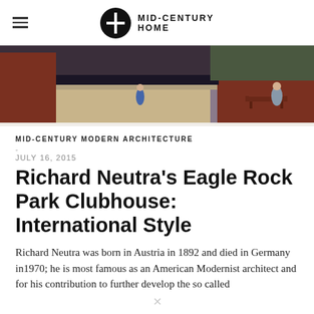MID-CENTURY HOME
[Figure (photo): Exterior photo of a mid-century modern building with red/rust-colored walls and a covered walkway, with outdoor furniture visible]
MID-CENTURY MODERN ARCHITECTURE
-
JULY 16, 2015
Richard Neutra's Eagle Rock Park Clubhouse: International Style
Richard Neutra was born in Austria in 1892 and died in Germany in1970; he is most famous as an American Modernist architect and for his contribution to further develop the so called